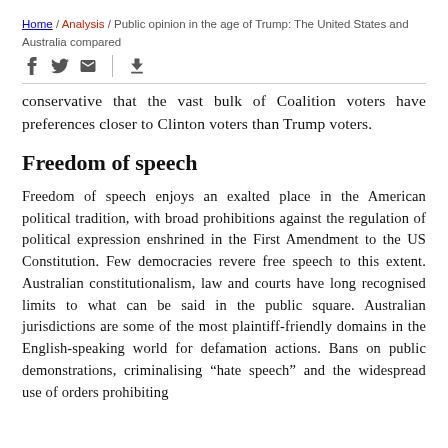Home / Analysis / Public opinion in the age of Trump: The United States and Australia compared
conservative that the vast bulk of Coalition voters have preferences closer to Clinton voters than Trump voters.
Freedom of speech
Freedom of speech enjoys an exalted place in the American political tradition, with broad prohibitions against the regulation of political expression enshrined in the First Amendment to the US Constitution. Few democracies revere free speech to this extent. Australian constitutionalism, law and courts have long recognised limits to what can be said in the public square. Australian jurisdictions are some of the most plaintiff-friendly domains in the English-speaking world for defamation actions. Bans on public demonstrations, criminalising “hate speech” and the widespread use of orders prohibiting